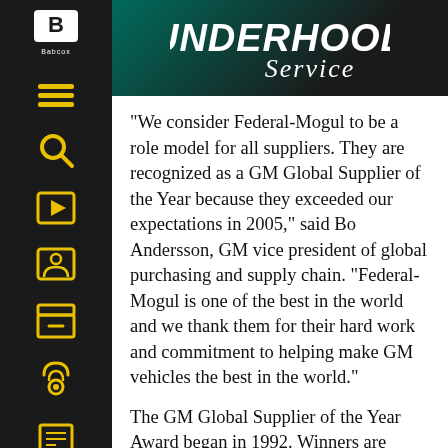UNDERHOOD Service
“We consider Federal-Mogul to be a role model for all suppliers. They are recognized as a GM Global Supplier of the Year because they exceeded our expectations in 2005,” said Bo Andersson, GM vice president of global purchasing and supply chain. “Federal-Mogul is one of the best in the world and we thank them for their hard work and commitment to helping make GM vehicles the best in the world.”
The GM Global Supplier of the Year Award began in 1992. Winners are selected by a team of executives from purchasing, engineering, manufacturing and logistics who base their decisions on supplier performance in quality,